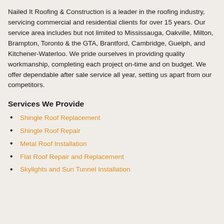Nailed It Roofing & Construction is a leader in the roofing industry, servicing commercial and residential clients for over 15 years. Our service area includes but not limited to Mississauga, Oakville, Milton, Brampton, Toronto & the GTA, Brantford, Cambridge, Guelph, and Kitchener-Waterloo. We pride ourselves in providing quality workmanship, completing each project on-time and on budget. We offer dependable after sale service all year, setting us apart from our competitors.
Services We Provide
Shingle Roof Replacement
Shingle Roof Repair
Metal Roof Installation
Flat Roof Repair and Replacement
Skylights and Sun Tunnel Installation